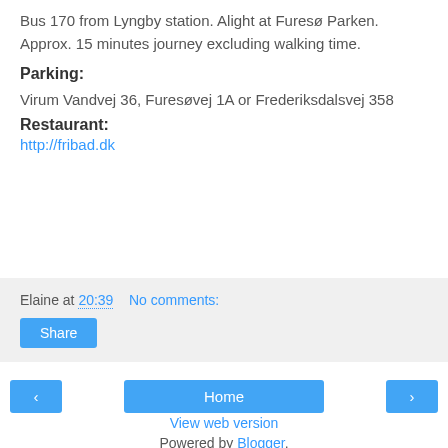Bus 170 from Lyngby station. Alight at Furesø Parken. Approx. 15 minutes journey excluding walking time.
Parking:
Virum Vandvej 36, Furesøvej 1A or Frederiksdalsvej 358
Restaurant:
http://fribad.dk
Elaine at 20:39   No comments:
Share
Home
View web version
Powered by Blogger.